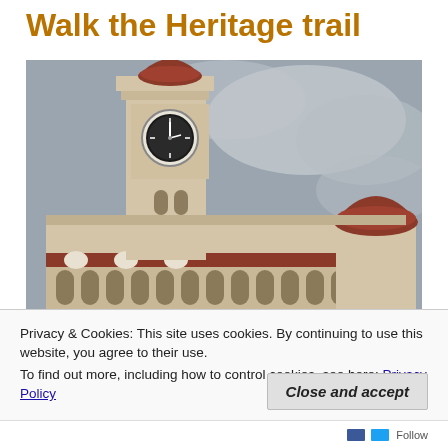Walk the Heritage trail
[Figure (photo): Photo of Sultan Abdul Samad Building in Kuala Lumpur, Malaysia. A grand colonial-era building with Moorish architecture featuring a tall clock tower with a red dome on top, ornate white stone facade with arched colonnades, and a second large red dome visible on the right. Overcast sky in the background.]
Privacy & Cookies: This site uses cookies. By continuing to use this website, you agree to their use.
To find out more, including how to control cookies, see here: Privacy Policy
Close and accept
Follow